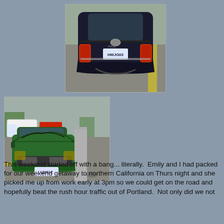[Figure (photo): Rear view of a dark blue Toyota Prius with a damaged bumper, parked on a highway. License plate visible. Yellow lane markings visible on the road.]
[Figure (photo): Front view of a damaged green car with smashed hood and front end damage, stopped next to a highway divider. Emergency vehicles visible in the background.]
This weekend started off with a bang... literally.  Emily and I had packed for our weekend getaway to northern California on Thurs night and she picked me up from work early at 3pm so we could get on the road and hopefully beat the rush hour traffic out of Portland.  Not only did we not